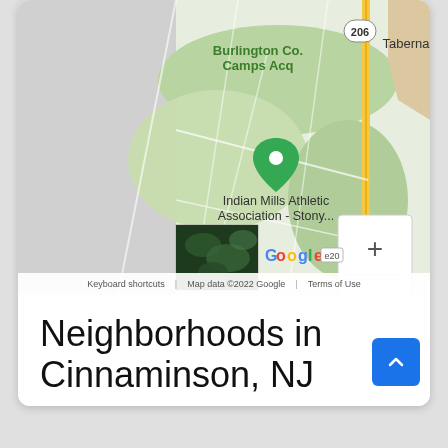[Figure (map): Google Maps screenshot showing area near Indian Mills Athletic Association - Stony..., Burlington Co. Camps Acq, Route 206, and Taberna. Includes zoom controls (+/-), satellite thumbnail, Google logo, and attribution: Keyboard shortcuts | Map data ©2022 Google | Terms of Use]
Neighborhoods in Cinnaminson, NJ